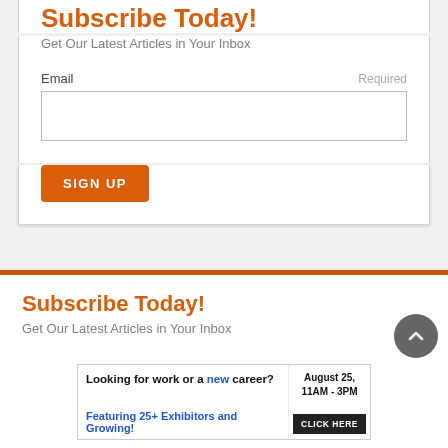Subscribe Today!
Get Our Latest Articles in Your Inbox
Email
Required
SIGN UP
Subscribe Today!
Get Our Latest Articles in Your Inbox
[Figure (infographic): Advertisement banner: Looking for work or a new career? August 25, 11AM - 3PM. Featuring 25+ Exhibitors and Growing! CLICK HERE]
Back to top button (chevron up icon)